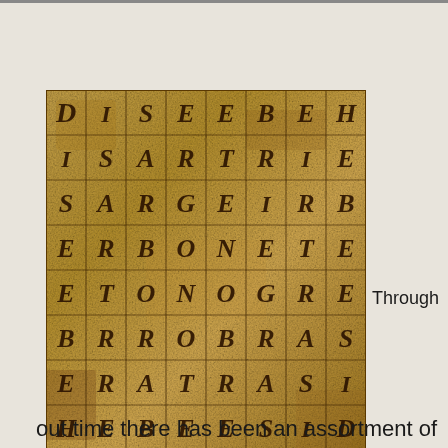[Figure (other): An aged parchment-style grid/word search puzzle with 8x8 cells containing stylized letters: D I S E E B E H / I S A R T R I E / S A R G E I R B / E R B O N E T E / E T O N O G R E / B R R O B R A S / E R A T R A S I / H E B E E S I D]
Through
out time there has been an assortment of